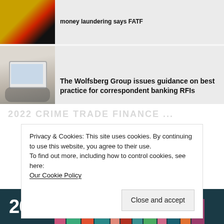[Figure (photo): Photo of German flag (black-red-gold) on a building]
[Figure (photo): Photo of person using a tablet with a coffee cup nearby]
The Wolfsberg Group issues guidance on best practice for correspondent banking RFIs
Privacy & Cookies: This site uses cookies. By continuing to use this website, you agree to their use.
To find out more, including how to control cookies, see here:
Our Cookie Policy
Close and accept
[Figure (illustration): 2022 banner with colorful city skyline silhouettes on dark teal background]